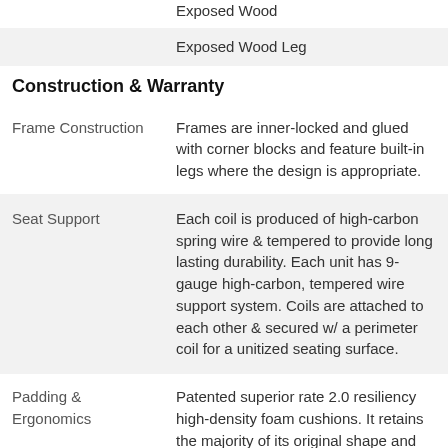|  | Exposed Wood |
|  | Exposed Wood Leg |
Construction & Warranty
| Frame Construction | Frames are inner-locked and glued with corner blocks and feature built-in legs where the design is appropriate. |
| Seat Support | Each coil is produced of high-carbon spring wire & tempered to provide long lasting durability. Each unit has 9-gauge high-carbon, tempered wire support system. Coils are attached to each other & secured w/ a perimeter coil for a unitized seating surface. |
| Padding & Ergonomics | Patented superior rate 2.0 resiliency high-density foam cushions. It retains the majority of its original shape and comfort is better than most foam cushioning available today. |